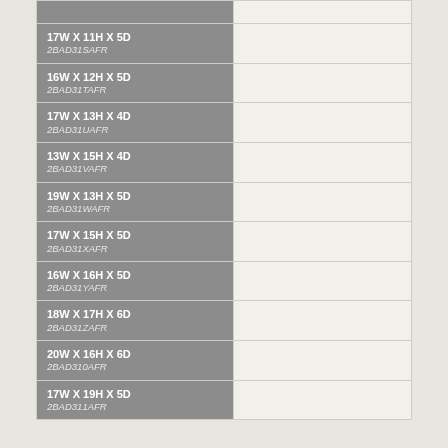| Dimensions / SKU |  |
| --- | --- |
| 17W X 11H X 5D
2BAD31SAFR |  |
| 16W X 12H X 5D
2BAD31TAFR |  |
| 17W X 13H X 4D
2BAD31UAFR |  |
| 13W X 15H X 4D
2BAD31VAFR |  |
| 19W X 13H X 5D
2BAD31WAFR |  |
| 17W X 15H X 5D
2BAD31XAFR |  |
| 16W X 16H X 5D
2BAD31YAFR |  |
| 18W X 17H X 6D
2BAD31ZAFR |  |
| 20W X 16H X 6D
2BAD310AFR |  |
| 17W X 19H X 5D
2BAD311AFR |  |